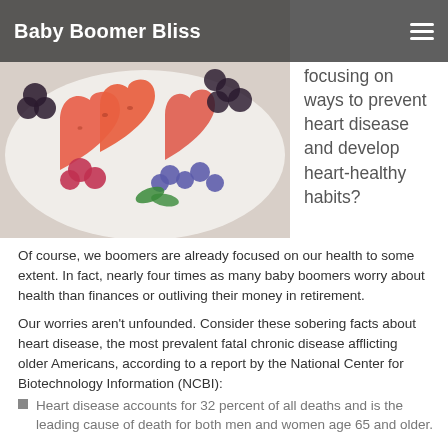Baby Boomer Bliss
[Figure (photo): Heart-shaped watermelon slices, strawberries, blackberries, blueberries, and mint leaves arranged on a white surface.]
focusing on ways to prevent heart disease and develop heart-healthy habits?
Of course, we boomers are already focused on our health to some extent. In fact, nearly four times as many baby boomers worry about health than finances or outliving their money in retirement.
Our worries aren't unfounded. Consider these sobering facts about heart disease, the most prevalent fatal chronic disease afflicting older Americans, according to a report by the National Center for Biotechnology Information (NCBI):
Heart disease accounts for 32 percent of all deaths and is the leading cause of death for both men and women age 65 and older.